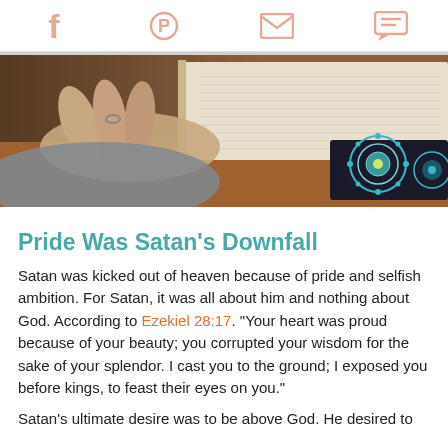Social sharing icons: Facebook, Pinterest, Email, Comment
[Figure (photo): Close-up photograph of a person's hands resting on an open Bible or book with an ornate decorated cover featuring teal/blue mandala patterns on a wooden surface.]
Pride Was Satan's Downfall
Satan was kicked out of heaven because of pride and selfish ambition. For Satan, it was all about him and nothing about God. According to Ezekiel 28:17. "Your heart was proud because of your beauty; you corrupted your wisdom for the sake of your splendor. I cast you to the ground; I exposed you before kings, to feast their eyes on you."
Satan's ultimate desire was to be above God. He desired to